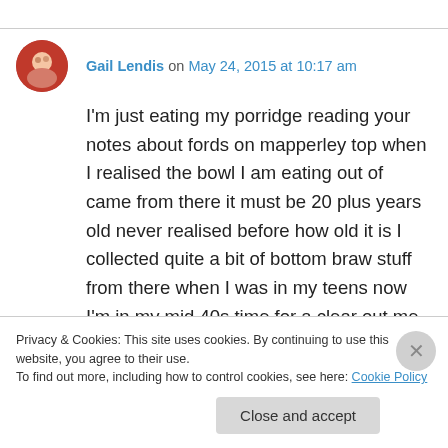Gail Lendis on May 24, 2015 at 10:17 am
I'm just eating my porridge reading your notes about fords on mapperley top when I realised the bowl I am eating out of came from there it must be 20 plus years old never realised before how old it is I collected quite a bit of bottom braw stuff from there when I was in my teens now I'm in my mid 40s time for a clear out me thinks
Privacy & Cookies: This site uses cookies. By continuing to use this website, you agree to their use.
To find out more, including how to control cookies, see here: Cookie Policy